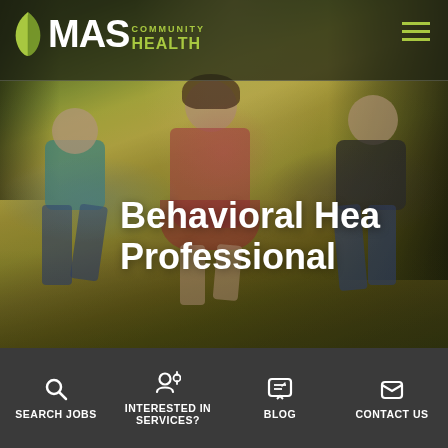[Figure (screenshot): MAS Community Health website screenshot showing three children running in a sunny field, with the site header and bottom navigation bar visible.]
Behavioral Health Professionals
SEARCH JOBS | INTERESTED IN SERVICES? | BLOG | CONTACT US